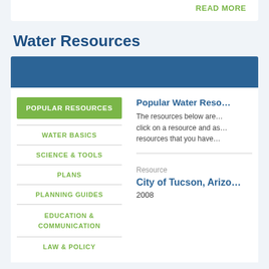READ MORE
Water Resources
POPULAR RESOURCES
WATER BASICS
SCIENCE & TOOLS
PLANS
PLANNING GUIDES
EDUCATION & COMMUNICATION
LAW & POLICY
Popular Water Reso...
The resources below are... click on a resource and as... resources that you have...
Resource
City of Tucson, Arizo...
2008